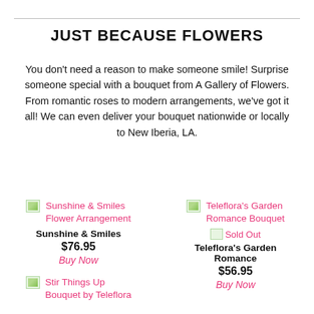JUST BECAUSE FLOWERS
You don't need a reason to make someone smile! Surprise someone special with a bouquet from A Gallery of Flowers. From romantic roses to modern arrangements, we've got it all! We can even deliver your bouquet nationwide or locally to New Iberia, LA.
[Figure (photo): Thumbnail image for Sunshine & Smiles Flower Arrangement product]
Sunshine & Smiles Flower Arrangement
Sunshine & Smiles
$76.95
Buy Now
[Figure (photo): Thumbnail image for Teleflora's Garden Romance Bouquet product with Sold Out badge]
Teleflora's Garden Romance Bouquet
Sold Out
Teleflora's Garden Romance
$56.95
Buy Now
[Figure (photo): Thumbnail image for Stir Things Up Bouquet by Teleflora product]
Stir Things Up Bouquet by Teleflora